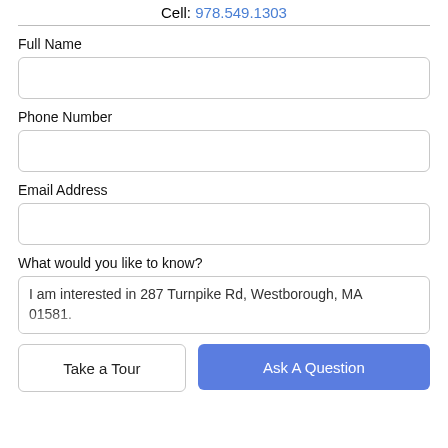Cell: 978.549.1303
Full Name
Phone Number
Email Address
What would you like to know?
I am interested in 287 Turnpike Rd, Westborough, MA 01581.
Take a Tour
Ask A Question